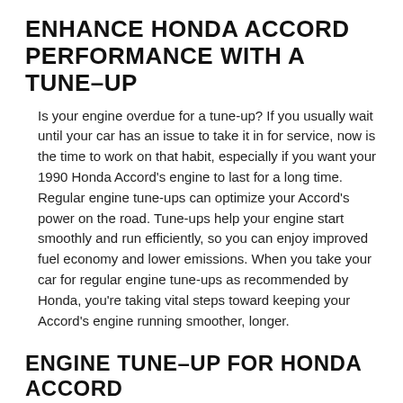ENHANCE HONDA ACCORD PERFORMANCE WITH A TUNE-UP
Is your engine overdue for a tune-up? If you usually wait until your car has an issue to take it in for service, now is the time to work on that habit, especially if you want your 1990 Honda Accord's engine to last for a long time. Regular engine tune-ups can optimize your Accord's power on the road. Tune-ups help your engine start smoothly and run efficiently, so you can enjoy improved fuel economy and lower emissions. When you take your car for regular engine tune-ups as recommended by Honda, you're taking vital steps toward keeping your Accord's engine running smoother, longer.
ENGINE TUNE-UP FOR HONDA ACCORD
The Firestone Complete Auto Care location in your community offers several Honda Accord engine tune-